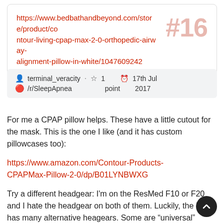https://www.bedbathandbeyond.com/store/product/contour-living-cpap-max-2-0-orthopedic-airway-alignment-pillow-in-white/1047609242  #16
terminal_veracity · ☆ 1 point © 17th Jul 2017 🔴 /r/SleepApnea
For me a CPAP pillow helps. These have a little cutout for the mask. This is the one I like (and it has custom pillowcases too):
https://www.amazon.com/Contour-Products-CPAPMax-Pillow-2-0/dp/B01LYNBWXG
Try a different headgear: I'm on the ResMed F10 or F20 and I hate the headgear on both of them. Luckily, the F10 has many alternative heagears. Some are "universal"